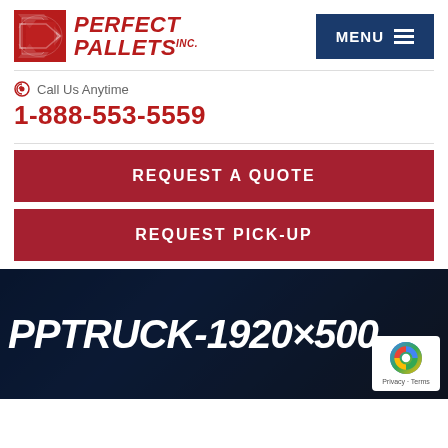[Figure (logo): Perfect Pallets Inc. logo with red diamond/arrow icon and red bold italic text]
MENU ☰
Call Us Anytime
1-888-553-5559
REQUEST A QUOTE
REQUEST PICK-UP
PPTRUCK-1920×500